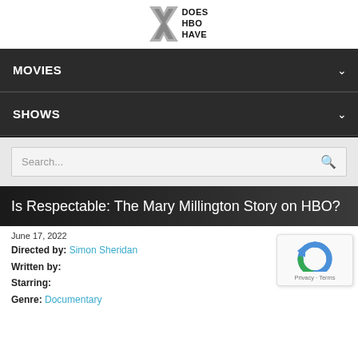Does HBO Have
MOVIES
SHOWS
Search...
Is Respectable: The Mary Millington Story on HBO?
June 17, 2022
Directed by: Simon Sheridan
Written by:
Starring:
Genre: Documentary